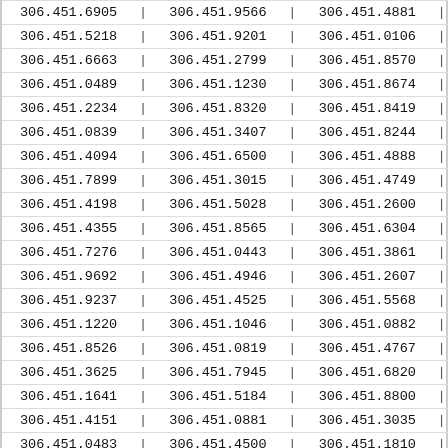| 306.451.6905 | | | 306.451.9566 | | | 306.451.4881 | | |
| 306.451.5218 | | | 306.451.9201 | | | 306.451.0106 | | |
| 306.451.6663 | | | 306.451.2799 | | | 306.451.8570 | | |
| 306.451.0489 | | | 306.451.1230 | | | 306.451.8674 | | |
| 306.451.2234 | | | 306.451.8320 | | | 306.451.8419 | | |
| 306.451.0839 | | | 306.451.3407 | | | 306.451.8244 | | |
| 306.451.4094 | | | 306.451.6500 | | | 306.451.4888 | | |
| 306.451.7899 | | | 306.451.3015 | | | 306.451.4749 | | |
| 306.451.4198 | | | 306.451.5028 | | | 306.451.2600 | | |
| 306.451.4355 | | | 306.451.8565 | | | 306.451.6304 | | |
| 306.451.7276 | | | 306.451.0443 | | | 306.451.3861 | | |
| 306.451.9692 | | | 306.451.4946 | | | 306.451.2607 | | |
| 306.451.9237 | | | 306.451.4525 | | | 306.451.5568 | | |
| 306.451.1220 | | | 306.451.1046 | | | 306.451.0882 | | |
| 306.451.8526 | | | 306.451.0819 | | | 306.451.4767 | | |
| 306.451.3625 | | | 306.451.7945 | | | 306.451.6820 | | |
| 306.451.1641 | | | 306.451.5184 | | | 306.451.8800 | | |
| 306.451.4151 | | | 306.451.0881 | | | 306.451.3035 | | |
| 306.451.0483 | | | 306.451.4500 | | | 306.451.1810 | | |